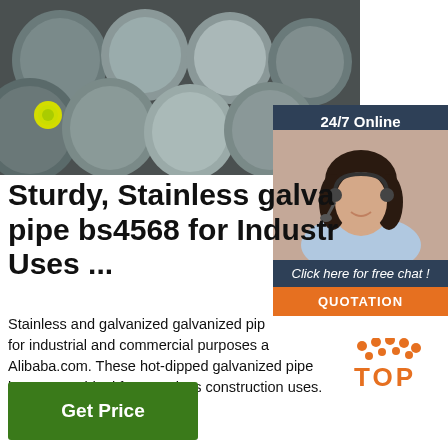[Figure (photo): Stack of round metal steel bars/rods viewed from the end, showing circular cross-sections with yellow sticker labels on some rods, stored in an industrial warehouse setting]
[Figure (photo): Customer service representative - woman with dark hair wearing a headset, smiling, with '24/7 Online' banner and 'Click here for free chat!' text and orange QUOTATION button]
Sturdy, Stainless galvanized pipe bs4568 for Industrial Uses ...
Stainless and galvanized galvanized pipe for industrial and commercial purposes at Alibaba.com. These hot-dipped galvanized pipe bs4568 are ideal for seamless construction uses.
[Figure (logo): TOP badge with orange dots/dots pattern above and orange bold text 'TOP']
Get Price